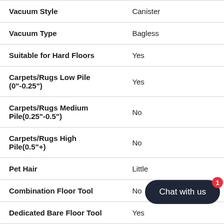| Attribute | Value |
| --- | --- |
| Vacuum Style | Canister |
| Vacuum Type | Bagless |
| Suitable for Hard Floors | Yes |
| Carpets/Rugs Low Pile (0"-0.25") | Yes |
| Carpets/Rugs Medium Pile(0.25"-0.5") | No |
| Carpets/Rugs High Pile(0.5"+) | No |
| Pet Hair | Little |
| Combination Floor Tool | No |
| Dedicated Bare Floor Tool | Yes |